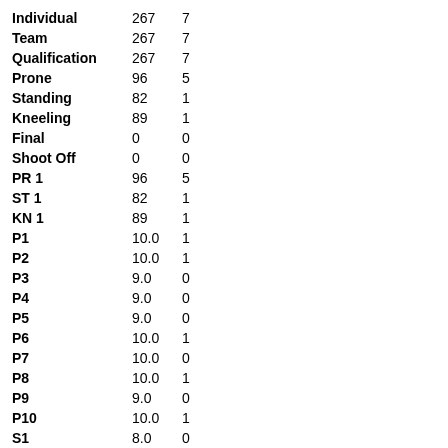| Individual | 267 | 7 |
| Team | 267 | 7 |
| Qualification | 267 | 7 |
| Prone | 96 | 5 |
| Standing | 82 | 1 |
| Kneeling | 89 | 1 |
| Final | 0 | 0 |
| Shoot Off | 0 | 0 |
| PR 1 | 96 | 5 |
| ST 1 | 82 | 1 |
| KN 1 | 89 | 1 |
| P1 | 10.0 | 1 |
| P2 | 10.0 | 1 |
| P3 | 9.0 | 0 |
| P4 | 9.0 | 0 |
| P5 | 9.0 | 0 |
| P6 | 10.0 | 1 |
| P7 | 10.0 | 0 |
| P8 | 10.0 | 1 |
| P9 | 9.0 | 0 |
| P10 | 10.0 | 1 |
| S1 | 8.0 | 0 |
| S2 | 9.0 | 0 |
| S3 | 8.0 | 0 |
| S4 | 8.0 | 0 |
| S5 | 10.0 | 1 |